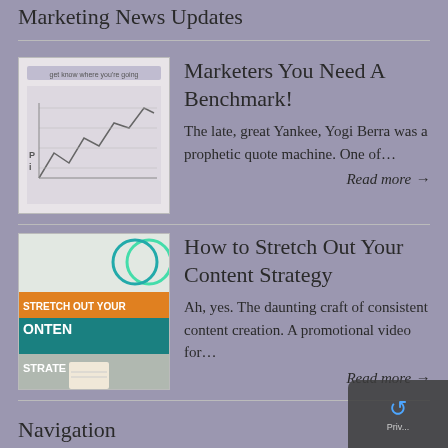Marketing News Updates
Marketers You Need A Benchmark!
[Figure (illustration): Thumbnail image showing a chart with a line graph, text 'get know where you're going']
The late, great Yankee, Yogi Berra was a prophetic quote machine. One of…
Read more →
How to Stretch Out Your Content Strategy
[Figure (illustration): Thumbnail image showing content strategy promotional material with text 'STRETCH OUT YOUR CONTENT STRATE']
Ah, yes. The daunting craft of consistent content creation. A promotional video for…
Read more →
Navigation
Home